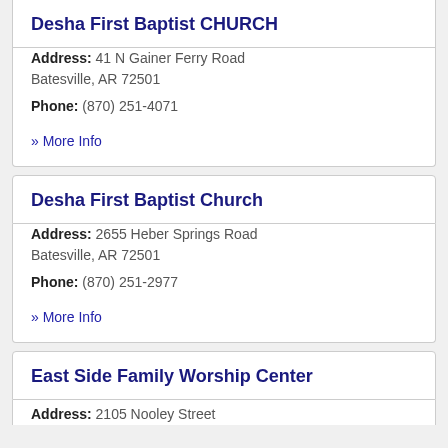Desha First Baptist CHURCH
Address: 41 N Gainer Ferry Road Batesville, AR 72501
Phone: (870) 251-4071
» More Info
Desha First Baptist Church
Address: 2655 Heber Springs Road Batesville, AR 72501
Phone: (870) 251-2977
» More Info
East Side Family Worship Center
Address: 2105 Nooley Street